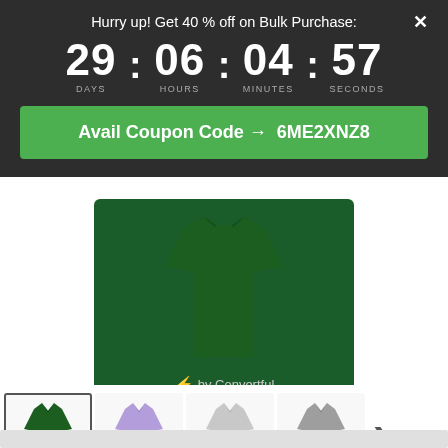Hurry up! Get 40 % off on Bulk Purchase:
29 : 06 : 04 : 57 DAYS HOURS MINUTES SECONDS
Avail Coupon Code → 6ME2XNZ8
[Figure (photo): Dark green polo shirt product image with 'by Convertful' branding overlay]
[Figure (photo): Row of polo shirt thumbnails in dark green (selected), lavender, light gray, and medium gray colors, with a right arrow navigation button]